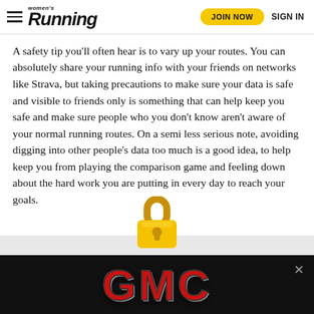Women's Running — JOIN NOW   SIGN IN
A safety tip you'll often hear is to vary up your routes. You can absolutely share your running info with your friends on networks like Strava, but taking precautions to make sure your data is safe and visible to friends only is something that can help keep you safe and make sure people who you don't know aren't aware of your normal running routes. On a semi less serious note, avoiding digging into other people's data too much is a good idea, to help keep you from playing the comparison game and feeling down about the hard work you are putting in every day to reach your goals.
[Figure (illustration): Gold padlock emoji icon partially visible above a gray horizontal band]
[Figure (logo): GMC advertisement banner with red metallic GMC logo text on black background with close X button]